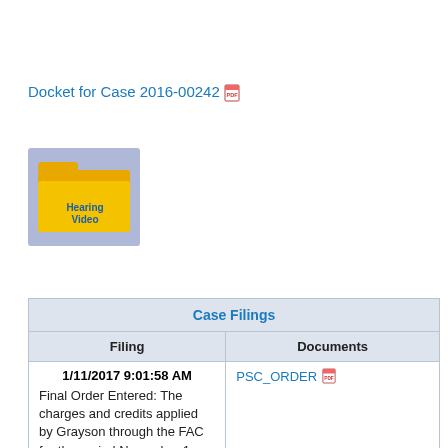Docket for Case 2016-00242 [PDF icon]
[Figure (illustration): Yellow folder icon with 'Hearing Video' text label on blue/lavender background]
| Case Filings |  |
| --- | --- |
| Filing | Documents |
| 1/11/2017 9:01:58 AM
Final Order Entered: The charges and credits applied by Grayson through the FAC for the period November 1, 2015, | PSC_ORDER [PDF icon] |